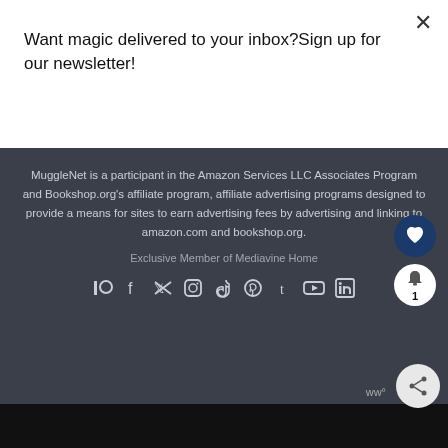Want magic delivered to your inbox?Sign up for our newsletter!
Subscribe
MuggleNet is a participant in the Amazon Services LLC Associates Program and Bookshop.org's affiliate program, affiliate advertising programs designed to provide a means for sites to earn advertising fees by advertising and linking to amazon.com and bookshop.org.
Exclusive Member of Mediavine Home
[Figure (other): Social media icons row: Patreon, Facebook, Twitter, Instagram, TikTok, Pinterest, Tumblr, YouTube, LinkedIn]
[Figure (other): Heart favorite button (dark blue circle), bell notification button showing count 1, share button, and ww badge]